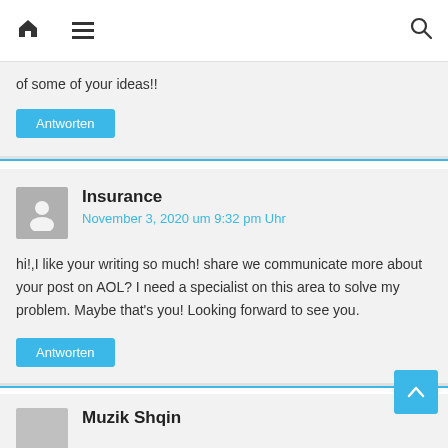Home navigation and search icons
of some of your ideas!!
Antworten
Insurance
November 3, 2020 um 9:32 pm Uhr
hi!,I like your writing so much! share we communicate more about your post on AOL? I need a specialist on this area to solve my problem. Maybe that's you! Looking forward to see you.
Antworten
Muzik Shqin